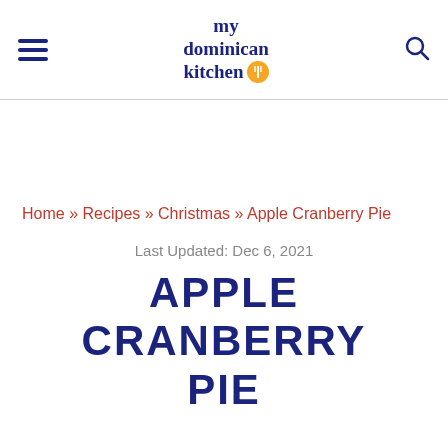my dominican kitchen
Home » Recipes » Christmas » Apple Cranberry Pie
Last Updated: Dec 6, 2021
APPLE CRANBERRY PIE